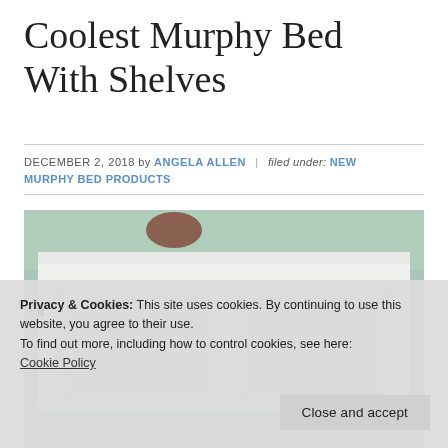Coolest Murphy Bed With Shelves
DECEMBER 2, 2018 by ANGELA ALLEN | filed under: NEW MURPHY BED PRODUCTS
[Figure (photo): Photo of a white Murphy bed unit with shelves, close-up of the top molding against a light green wall. A cookie consent overlay covers the lower portion of the image.]
Privacy & Cookies: This site uses cookies. By continuing to use this website, you agree to their use.
To find out more, including how to control cookies, see here: Cookie Policy
Close and accept